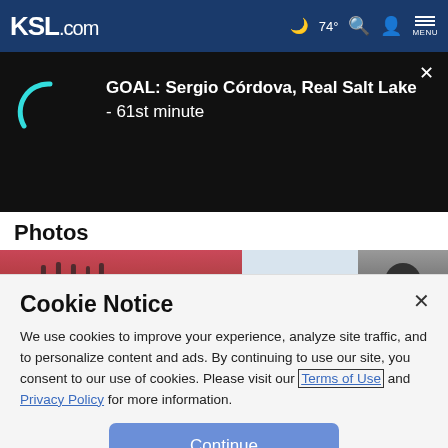KSL.com — 74° weather, search, account, menu
[Figure (screenshot): Black video/score ticker showing loading spinner arc and text: GOAL: Sergio Córdova, Real Salt Lake - 61st minute]
Photos
[Figure (photo): Photo strip showing stadium/bridge scene on left, sky in center, dark round object on right]
Cookie Notice
We use cookies to improve your experience, analyze site traffic, and to personalize content and ads. By continuing to use our site, you consent to our use of cookies. Please visit our Terms of Use and Privacy Policy for more information.
Continue